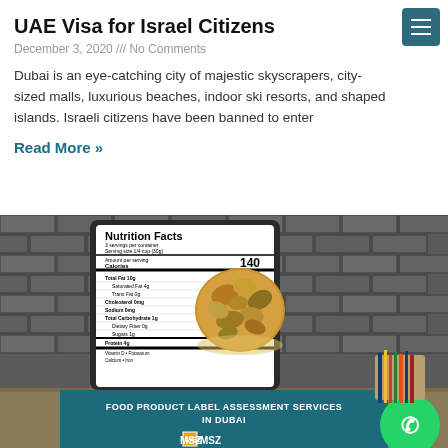UAE Visa for Israel Citizens
December 3, 2020 /// No Comments
Dubai is an eye-catching city of majestic skyscrapers, city-sized malls, luxurious beaches, indoor ski resorts, and shaped islands. Israeli citizens have been banned to enter
Read More »
[Figure (photo): Screenshot of a Nutrition Facts label next to a bowl of mixed nuts, with a banner below reading 'FOOD PRODUCT LABEL ASSESSMENT SERVICES IN DUBAI' and an MSZ logo, set against a brick wall background.]